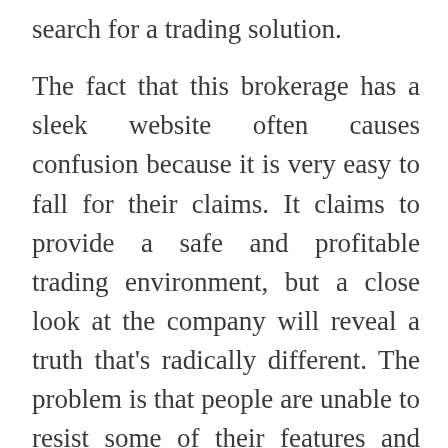search for a trading solution.
The fact that this brokerage has a sleek website often causes confusion because it is very easy to fall for their claims. It claims to provide a safe and profitable trading environment, but a close look at the company will reveal a truth that's radically different. The problem is that people are unable to resist some of their features and offerings and this causes them to fall into Centogx trap. What are these? Let's take a look at some of these features: